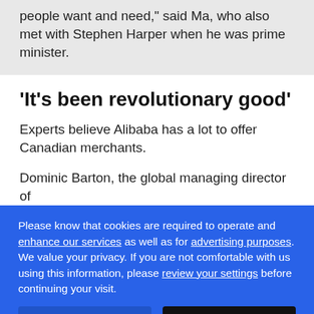people want and need, said Ma, who also met with Stephen Harper when he was prime minister.
'It's been revolutionary good'
Experts believe Alibaba has a lot to offer Canadian merchants.
Dominic Barton, the global managing director of
Please know that cookies are required to operate and enhance our services as well as for advertising purposes. We value your privacy. If you are not comfortable with us using this information, please review your settings before continuing your visit.